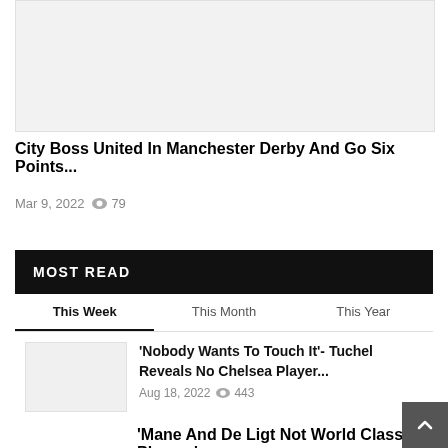[Figure (photo): Article thumbnail image placeholder (light gray)]
City Boss United In Manchester Derby And Go Six Points...
Mar 9, 2022  79
MOST READ
This Week	This Month	This Year
[Figure (photo): Article thumbnail for Tuchel/Chelsea article]
'Nobody Wants To Touch It'- Tuchel Reveals No Chelsea Player...
Aug 18, 2022  443
'Mane And De Ligt Not World Class Players'-